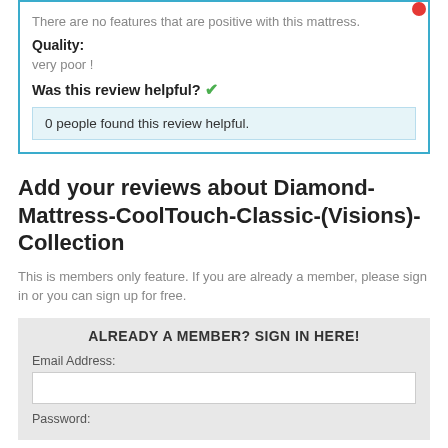There are no features that are positive with this mattress.
Quality:
very poor !
Was this review helpful? ✔
0 people found this review helpful.
Add your reviews about Diamond-Mattress-CoolTouch-Classic-(Visions)-Collection
This is members only feature. If you are already a member, please sign in or you can sign up for free.
ALREADY A MEMBER? SIGN IN HERE!
Email Address:
Password: